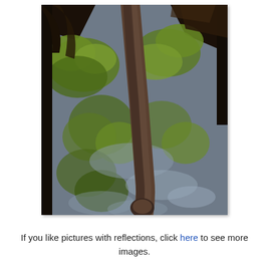[Figure (photo): Outdoor nature photograph showing a curved wooden log or pole in the foreground, with green leafy tree foliage and its reflection in water below. Dark wooden fence or bridge structure visible at the edges. The scene shows tree reflections in calm water.]
If you like pictures with reflections, click here to see more images.